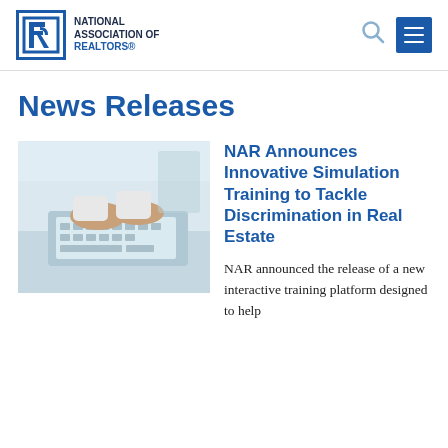NATIONAL ASSOCIATION OF REALTORS®
News Releases
[Figure (photo): Person typing on a laptop keyboard, close-up of hands on keyboard with a bright, light background]
NAR Announces Innovative Simulation Training to Tackle Discrimination in Real Estate
NAR announced the release of a new interactive training platform designed to help